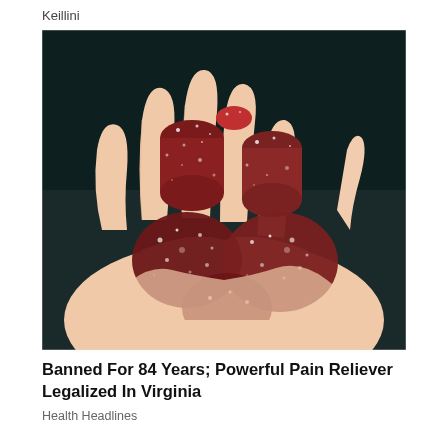Keillini
[Figure (photo): A hand holding several red/dark-red sugar-coated gummy candies against a dark background]
Banned For 84 Years; Powerful Pain Reliever Legalized In Virginia
Health Headlines